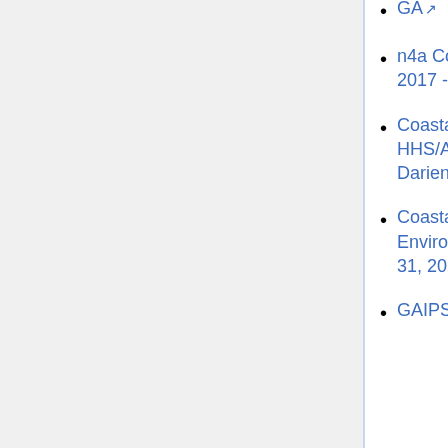GA (external link)
n4a Conference - August 1, 2017 - Savannah, GA (external link)
Coastal Regional Commission HHS/ACL Tour July 31, 2017 - Darien, GA (external link)
Coastal ADRC Introduction to Environmental Control - July 31, 2017 - Darien, GA (external link)
GAIPSEC Leadership